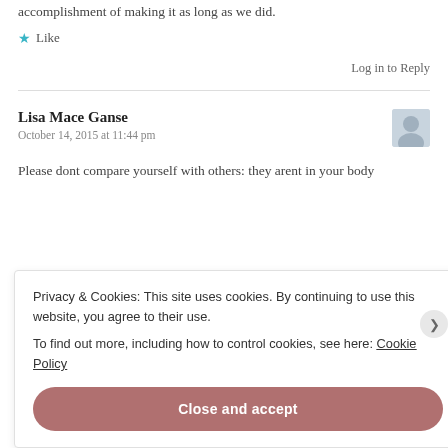accomplishment of making it as long as we did.
Like
Log in to Reply
Lisa Mace Ganse
October 14, 2015 at 11:44 pm
Please dont compare yourself with others: they arent in your body
Privacy & Cookies: This site uses cookies. By continuing to use this website, you agree to their use.
To find out more, including how to control cookies, see here: Cookie Policy
Close and accept